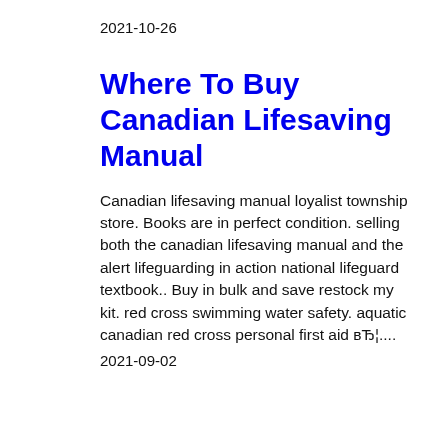2021-10-26
Where To Buy Canadian Lifesaving Manual
Canadian lifesaving manual loyalist township store. Books are in perfect condition. selling both the canadian lifesaving manual and the alert lifeguarding in action national lifeguard textbook.. Buy in bulk and save restock my kit. red cross swimming water safety. aquatic canadian red cross personal first aid вЂ¦....
2021-09-02